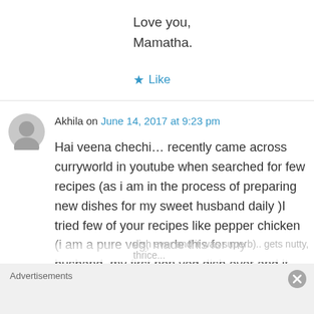Love you,
Mamatha.
★ Like
Akhila on June 14, 2017 at 9:23 pm
Hai veena chechi… recently came across curryworld in youtube when searched for few recipes (as i am in the process of preparing new dishes for my sweet husband daily )I tried few of your recipes like pepper chicken (i am a pure veg, made this for my husband..my first non veg dish ever and it was superb).. gets nutty, thrice...
Advertisements